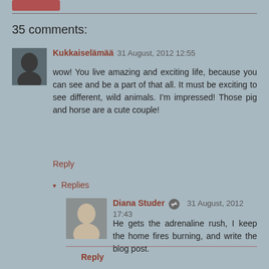35 comments:
Kukkaiselämää  31 August, 2012 12:55
wow! You live amazing and exciting life, because you can see and be a part of that all. It must be exciting to see different, wild animals. I'm impressed! Those pig and horse are a cute couple!
Reply
▾  Replies
Diana Studer  31 August, 2012 17:43
He gets the adrenaline rush, I keep the home fires burning, and write the blog post.
Reply